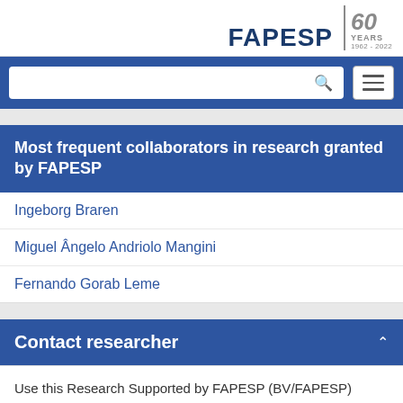[Figure (logo): FAPESP 60 Years 1962-2022 logo at top right]
[Figure (screenshot): Search bar with magnifying glass icon and hamburger menu button on blue background]
Most frequent collaborators in research granted by FAPESP
Ingeborg Braren
Miguel Ângelo Andriolo Mangini
Fernando Gorab Leme
Contact researcher
Use this Research Supported by FAPESP (BV/FAPESP) channel only to send messages referring to FAPESP-funded scientific projects.